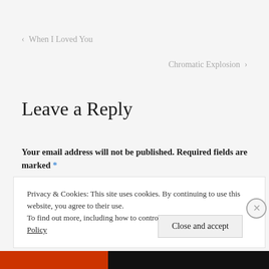< When I Loved You
Chromatic Explosion >
Leave a Reply
Your email address will not be published. Required fields are marked *
Privacy & Cookies: This site uses cookies. By continuing to use this website, you agree to their use.
To find out more, including how to control cookies, see here: Cookie Policy
Close and accept